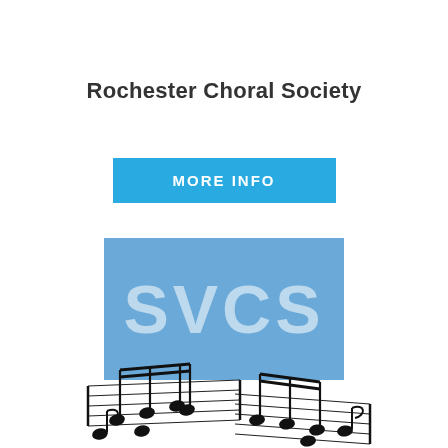Rochester Choral Society
MORE INFO
[Figure (logo): Blue rectangle with large light-colored text 'SVCS']
[Figure (illustration): Musical notes on a staff, showing a decorative music notation illustration in black and white]